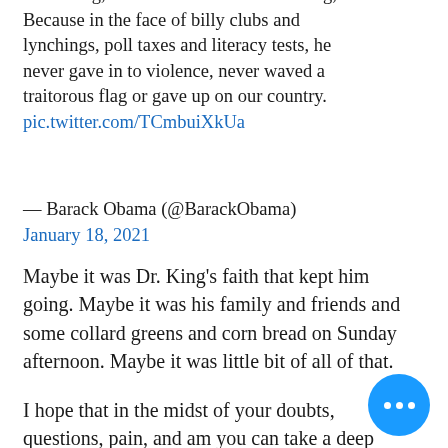redeeming, it was Dr. Martin Luther King, Jr. Because in the face of billy clubs and lynchings, poll taxes and literacy tests, he never gave in to violence, never waved a traitorous flag or gave up on our country. pic.twitter.com/TCmbuiXkUa
— Barack Obama (@BarackObama) January 18, 2021
Maybe it was Dr. King's faith that kept him going. Maybe it was his family and friends and some collard greens and corn bread on Sunday afternoon. Maybe it was little bit of all of that.
I hope that in the midst of your doubts, questions, pain, and am you can take a deep breath, sigh, find